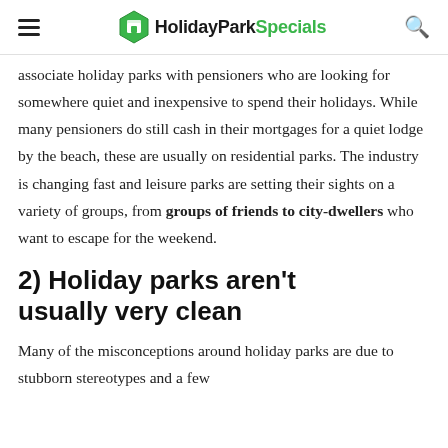HolidayParkSpecials
associate holiday parks with pensioners who are looking for somewhere quiet and inexpensive to spend their holidays. While many pensioners do still cash in their mortgages for a quiet lodge by the beach, these are usually on residential parks. The industry is changing fast and leisure parks are setting their sights on a variety of groups, from groups of friends to city-dwellers who want to escape for the weekend.
2) Holiday parks aren't usually very clean
Many of the misconceptions around holiday parks are due to stubborn stereotypes and a few